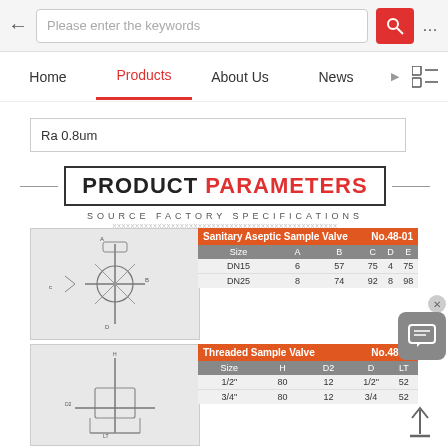Please enter the keywords
Home | Products | About Us | News
Ra 0.8um
PRODUCT PARAMETERS SOURCE FACTORY SPECIFICATIONS
[Figure (engineering-diagram): Technical drawing of Sanitary Aseptic Sample Valve]
| Size | A | B | C | D | E |
| --- | --- | --- | --- | --- | --- |
| DN15 | 6 | 57 | 75 | 4 | 75 |
| DN25 | 8 | 74 | 92 | 8 | 98 |
Sanitary Aseptic Sample Valve No.48-01
[Figure (engineering-diagram): Technical drawing of Threaded Sample Valve]
| Size | H | D2 | D | LT |
| --- | --- | --- | --- | --- |
| 1/2" | 80 | 12 | 1/2" | 52 |
| 3/4" | 80 | 12 | 3/4 | 52 |
Threaded Sample Valve No.48-02